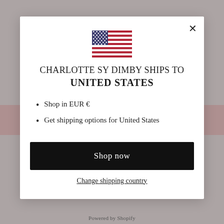[Figure (illustration): US flag icon centered at top of modal]
CHARLOTTE SY DIMBY SHIPS TO UNITED STATES
Shop in EUR €
Get shipping options for United States
Shop now
Change shipping country
Powered by Shopify